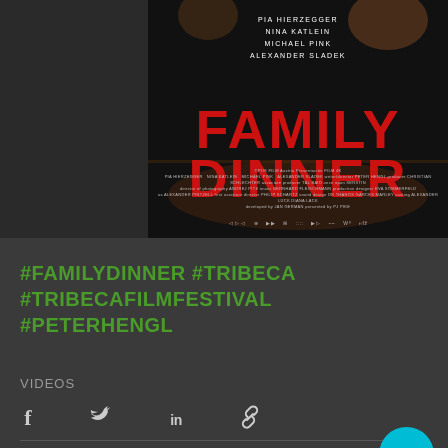[Figure (photo): Movie poster for 'Family Dinner' showing a dark dinner table scene with large red bold title text, cast names Pia Hierzegger, Nina Katlein, Michael Pink, Alexander Sladek, and small credits at the bottom with sponsor logos]
#FAMILYDINNER #TRIBECA #TRIBECAFILMFESTIVAL #PETERHENGL
VIDEOS
[Figure (infographic): Social sharing icons: Facebook (f), Twitter bird, LinkedIn (in), and link/chain icon]
[Figure (other): Comment/chat icon at bottom left and cyan circular more options button (three dots) at bottom right]